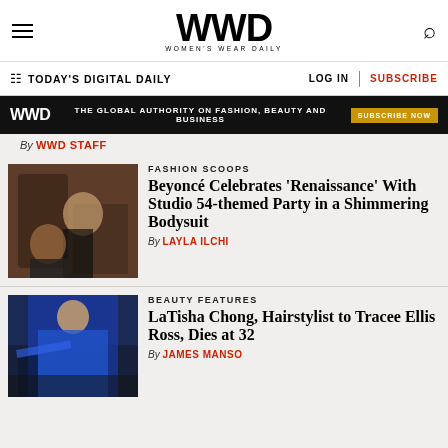WWD — Women's Wear Daily
TODAY'S DIGITAL DAILY | LOG IN | SUBSCRIBE
WWD — THE GLOBAL AUTHORITY ON FASHION, BEAUTY AND BUSINESS — SUBSCRIBE NOW
By WWD STAFF
FASHION SCOOPS
Beyoncé Celebrates 'Renaissance' With Studio 54-themed Party in a Shimmering Bodysuit
By LAYLA ILCHI
[Figure (photo): Beyoncé at Studio 54-themed Renaissance party]
BEAUTY FEATURES
LaTisha Chong, Hairstylist to Tracee Ellis Ross, Dies at 32
By JAMES MANSO
[Figure (photo): Person in royal blue velvet gown on red carpet]